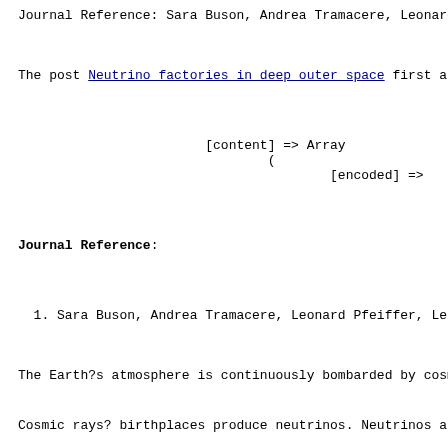Journal Reference: Sara Buson, Andrea Tramacere, Leonard
The post Neutrino factories in deep outer space first app
[content] => Array
    (
        [encoded] =>
Journal Reference:
1. Sara Buson, Andrea Tramacere, Leonard Pfeiffer, Len:
The Earth?s atmosphere is continuously bombarded by cosmi
Cosmic rays? birthplaces produce neutrinos. Neutrinos are